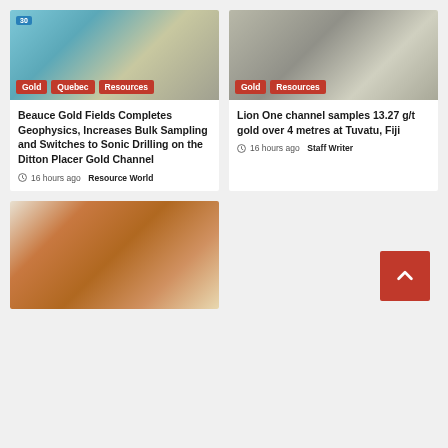[Figure (photo): Mining drill core samples with circular tubes, with blue/teal color tones]
Gold  Quebec  Resources
Beauce Gold Fields Completes Geophysics, Increases Bulk Sampling and Switches to Sonic Drilling on the Ditton Placer Gold Channel
16 hours ago  Resource World
[Figure (photo): Drill core samples laid out in rows, metallic grey colored rock cores]
Gold  Resources
Lion One channel samples 13.27 g/t gold over 4 metres at Tuvatu, Fiji
16 hours ago  Staff Writer
[Figure (photo): Worker in hard hat and safety vest using a laptop in a warehouse with orange metal racking]